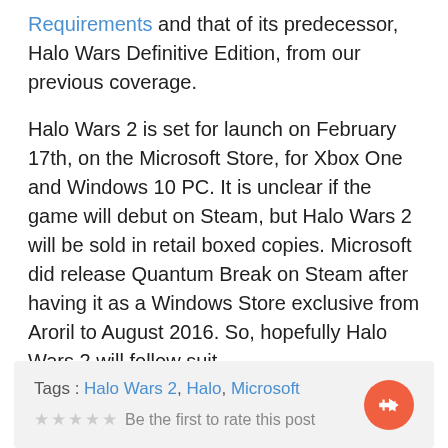Requirements and that of its predecessor, Halo Wars Definitive Edition, from our previous coverage.
Halo Wars 2 is set for launch on February 17th, on the Microsoft Store, for Xbox One and Windows 10 PC. It is unclear if the game will debut on Steam, but Halo Wars 2 will be sold in retail boxed copies. Microsoft did release Quantum Break on Steam after having it as a Windows Store exclusive from Aroril to August 2016. So, hopefully Halo Wars 2 will follow suit.
Tags : Halo Wars 2, Halo, Microsoft
★★★★★ Be the first to rate this post